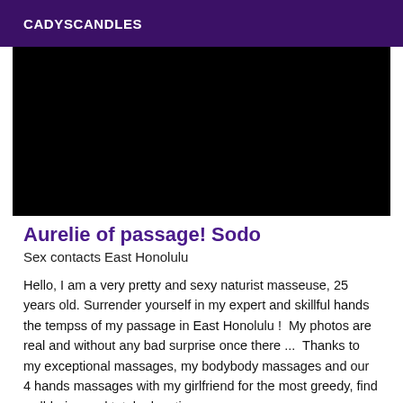CADYSCANDLES
[Figure (photo): Black rectangle placeholder image area]
Aurelie of passage! Sodo
Sex contacts East Honolulu
Hello, I am a very pretty and sexy naturist masseuse, 25 years old. Surrender yourself in my expert and skillful hands the tempss of my passage in East Honolulu !  My photos are real and without any bad surprise once there ...  Thanks to my exceptional massages, my bodybody massages and our 4 hands massages with my girlfriend for the most greedy, find well-being and total relaxation.